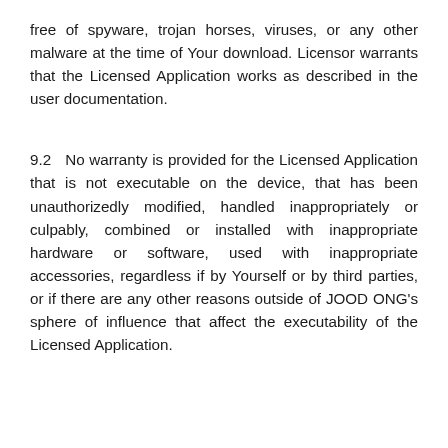free of spyware, trojan horses, viruses, or any other malware at the time of Your download. Licensor warrants that the Licensed Application works as described in the user documentation.
9.2 No warranty is provided for the Licensed Application that is not executable on the device, that has been unauthorizedly modified, handled inappropriately or culpably, combined or installed with inappropriate hardware or software, used with inappropriate accessories, regardless if by Yourself or by third parties, or if there are any other reasons outside of JOOD ONG’s sphere of influence that affect the executability of the Licensed Application.